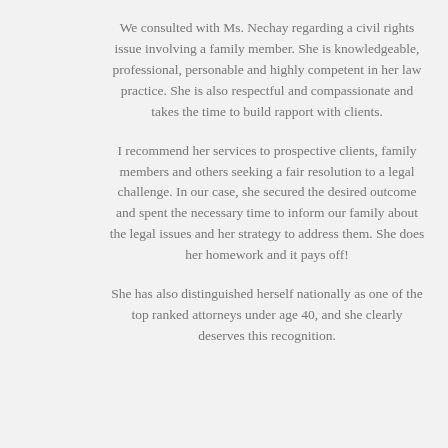We consulted with Ms. Nechay regarding a civil rights issue involving a family member. She is knowledgeable, professional, personable and highly competent in her law practice. She is also respectful and compassionate and takes the time to build rapport with clients.
I recommend her services to prospective clients, family members and others seeking a fair resolution to a legal challenge. In our case, she secured the desired outcome and spent the necessary time to inform our family about the legal issues and her strategy to address them. She does her homework and it pays off!
She has also distinguished herself nationally as one of the top ranked attorneys under age 40, and she clearly deserves this recognition.